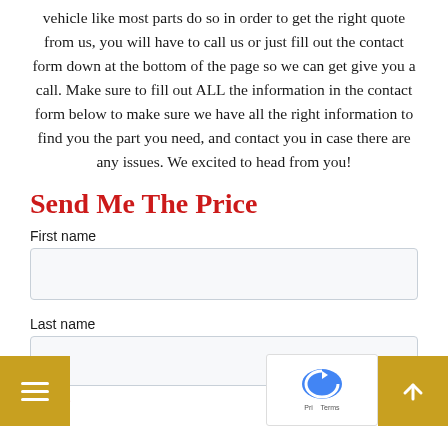vehicle like most parts do so in order to get the right quote from us, you will have to call us or just fill out the contact form down at the bottom of the page so we can get give you a call. Make sure to fill out ALL the information in the contact form below to make sure we have all the right information to find you the part you need, and contact you in case there are any issues. We excited to head from you!
Send Me The Price
First name
Last name
Email*